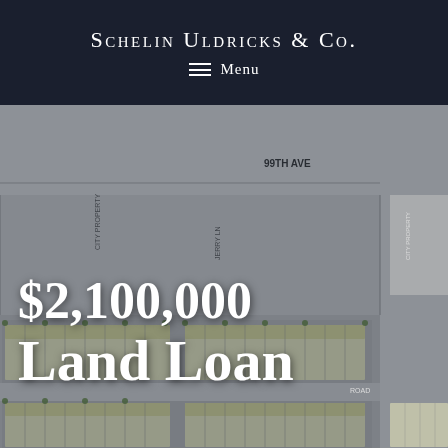SCHELIN ULDRICKS & CO.
Menu
[Figure (map): Aerial site plan/map showing a residential land development with plotted lots arranged in rows, green spaces, streets including 99th Ave, and surrounding parcels. The map is rendered in muted gray and olive/yellow-green tones.]
$2,100,000 Land Loan